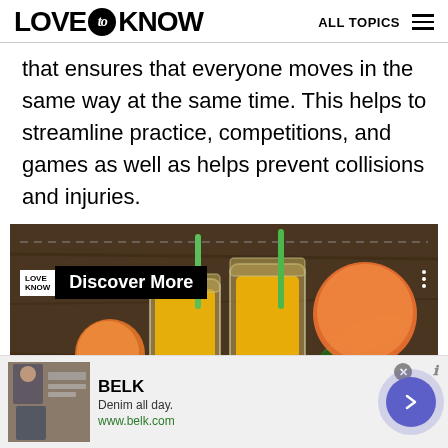LOVE to KNOW   ALL TOPICS
that ensures that everyone moves in the same way at the same time. This helps to streamline practice, competitions, and games as well as helps prevent collisions and injuries.
[Figure (photo): Photo of fruit juice in mason jar glasses with mango and peach fruits on a wooden surface. Overlay shows LoveToKnow logo and 'Discover More' label. Three-dot menu icon visible.]
[Figure (screenshot): BELK advertisement banner: 'Denim all day.' with www.belk.com URL, product images showing jeans, arrow navigation button, and close button.]